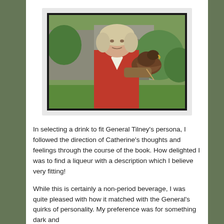[Figure (photo): A man in an 18th-century red coat and powdered wig holding a large bird of prey (hawk or eagle) on his gloved arm, standing outdoors in front of a stone building with greenery around.]
In selecting a drink to fit General Tilney's persona, I followed the direction of Catherine's thoughts and feelings through the course of the book. How delighted I was to find a liqueur with a description which I believe very fitting!
While this is certainly a non-period beverage, I was quite pleased with how it matched with the General's quirks of personality. My preference was for something dark and